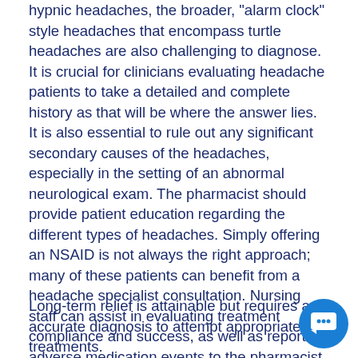hypnic headaches, the broader, "alarm clock" style headaches that encompass turtle headaches are also challenging to diagnose. It is crucial for clinicians evaluating headache patients to take a detailed and complete history as that will be where the answer lies. It is also essential to rule out any significant secondary causes of the headaches, especially in the setting of an abnormal neurological exam. The pharmacist should provide patient education regarding the different types of headaches. Simply offering an NSAID is not always the right approach; many of these patients can benefit from a headache specialist consultation. Nursing staff can assist in evaluating treatment compliance and success, as well as reporting adverse medication events to the pharmacist or physician.
Long-term relief is attainable but requires an accurate diagnosis to attempt appropriate treatments.
Patients with headaches need long-term monitoring to ensure that the treatment is working. Headaches may be benign but can seriously affect the quality of life. He... mental health professional should be consulted if there is add... ...